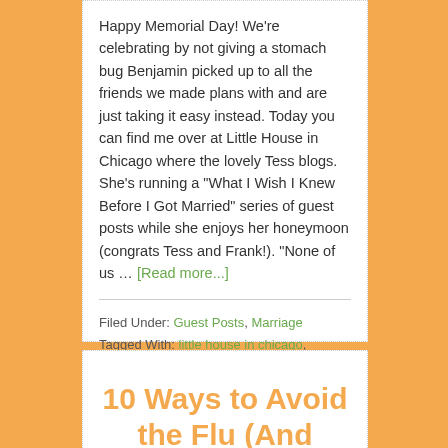Happy Memorial Day! We're celebrating by not giving a stomach bug Benjamin picked up to all the friends we made plans with and are just taking it easy instead. Today you can find me over at Little House in Chicago where the lovely Tess blogs. She's running a "What I Wish I Knew Before I Got Married" series of guest posts while she enjoys her honeymoon (congrats Tess and Frank!). "None of us … [Read more...]
Filed Under: Guest Posts, Marriage
Tagged With: little house in chicago, marriage, tess
10 Ways to Avoid the Flu (And Recipe: